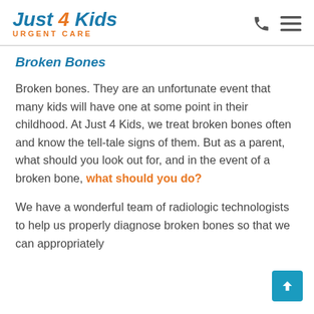Just 4 Kids Urgent Care
Broken Bones
Broken bones. They are an unfortunate event that many kids will have one at some point in their childhood. At Just 4 Kids, we treat broken bones often and know the tell-tale signs of them. But as a parent, what should you look out for, and in the event of a broken bone, what should you do?
We have a wonderful team of radiologic technologists to help us properly diagnose broken bones so that we can appropriately